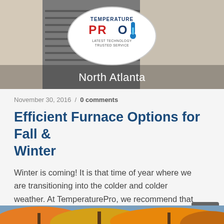[Figure (photo): Hero image showing HVAC/furnace equipment with TemperaturePro logo overlay and 'North Atlanta' text at the bottom]
November 30, 2016 / 0 comments
Efficient Furnace Options for Fall & Winter
Winter is coming! It is that time of year where we are transitioning into the colder and colder weather. At TemperaturePro, we recommend that HVAC...
[Figure (photo): Partial image of autumn trees with orange/yellow leaves against a blue sky]